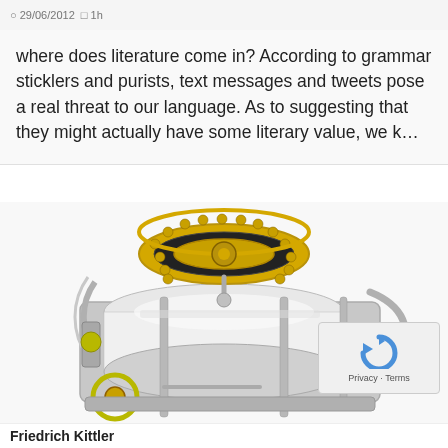29/06/2012 · 1h
where does literature come in? According to grammar sticklers and purists, text messages and tweets pose a real threat to our language. As to suggesting that they might actually have some literary value, we k…
[Figure (photo): Close-up photograph of an antique mechanical typewriter or writing machine, showing gold and silver metallic parts, a cylindrical platen, circular type element, and various mechanical linkages on a white background.]
Friedrich Kittler